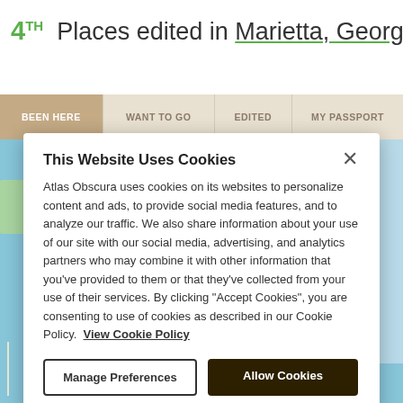4TH Places edited in Marietta, Georgia
[Figure (screenshot): Navigation tabs: BEEN HERE (active), WANT TO GO, EDITED, MY PASSPORT]
This Website Uses Cookies
Atlas Obscura uses cookies on its websites to personalize content and ads, to provide social media features, and to analyze our traffic. We also share information about your use of our site with our social media, advertising, and analytics partners who may combine it with other information that you've provided to them or that they've collected from your use of their services. By clicking "Accept Cookies", you are consenting to use of cookies as described in our Cookie Policy. View Cookie Policy
[Figure (screenshot): Two buttons: 'Manage Preferences' (outlined) and 'Allow Cookies' (dark filled)]